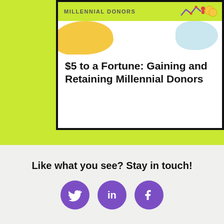[Figure (illustration): Infographic card thumbnail showing 'Millennial Donors' header with yellow blob, light blue blob, coin and graph icons on lime green background. Card with black border contains title '$5 to a Fortune: Gaining and Retaining Millennial Donors']
$5 to a Fortune: Gaining and Retaining Millennial Donors
Like what you see? Stay in touch!
[Figure (infographic): Three purple circular social media icons: Twitter bird, LinkedIn 'in', Facebook 'f']